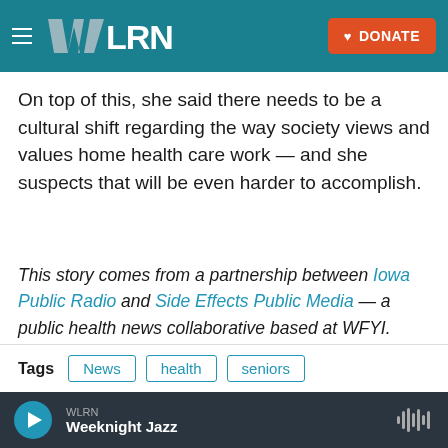WLRN | DONATE
On top of this, she said there needs to be a cultural shift regarding the way society views and values home health care work — and she suspects that will be even harder to accomplish.
This story comes from a partnership between Iowa Public Radio and Side Effects Public Media — a public health news collaborative based at WFYI. Follow Natalie on Twitter @natalie_krebs. Copyright 2022 Side Effects Public Media. To see more, visit Side Effects Public Media.
Tags   News   health   seniors
WLRN  Weeknight Jazz